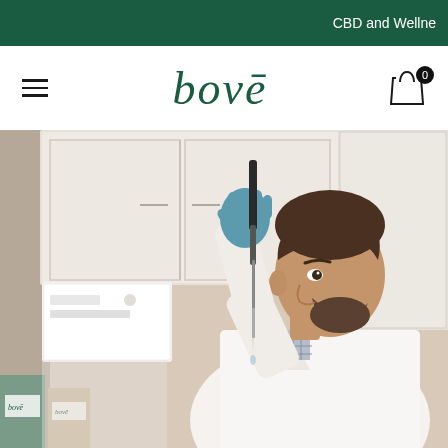CBD and Wellne
[Figure (logo): Bove brand logo in dark green italic serif font with macron over the e]
[Figure (photo): A male scientist wearing blue gloves and a white lab coat uses a pipette in a laboratory setting, with white cabinets and equipment visible in the background. Bove product bottles are visible in the bottom left corner.]